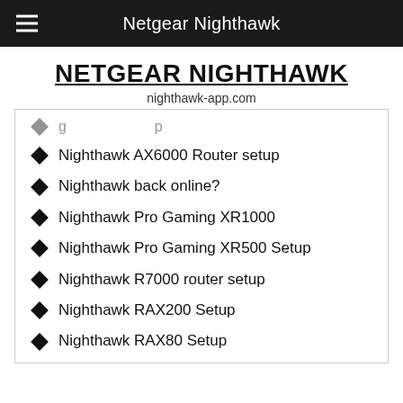Netgear Nighthawk
NETGEAR NIGHTHAWK
nighthawk-app.com
Nighthawk AX6000 Router setup
Nighthawk back online?
Nighthawk Pro Gaming XR1000
Nighthawk Pro Gaming XR500 Setup
Nighthawk R7000 router setup
Nighthawk RAX200 Setup
Nighthawk RAX80 Setup